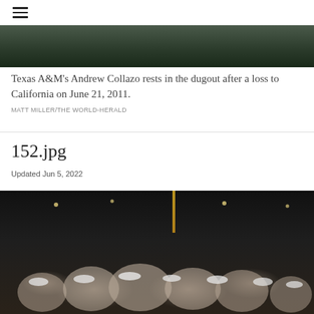☰
[Figure (photo): Partial view of a baseball dugout scene, dark background]
Texas A&M's Andrew Collazo rests in the dugout after a loss to California on June 21, 2011.
MATT MILLER/THE WORLD-HERALD
152.jpg
Updated Jun 5, 2022
[Figure (photo): Baseball team celebrating at night in a stadium, players wearing white caps crowded together, a yellow flag pole visible in the background with stadium lights]